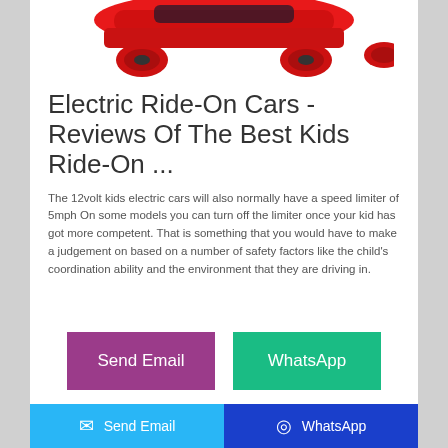[Figure (photo): Red electric ride-on toy car for kids, viewed from above/front angle, with red wheels and black seat, partially cropped at top of page]
Electric Ride-On Cars - Reviews Of The Best Kids Ride-On ...
The 12volt kids electric cars will also normally have a speed limiter of 5mph On some models you can turn off the limiter once your kid has got more competent. That is something that you would have to make a judgement on based on a number of safety factors like the child's coordination ability and the environment that they are driving in.
Send Email   WhatsApp